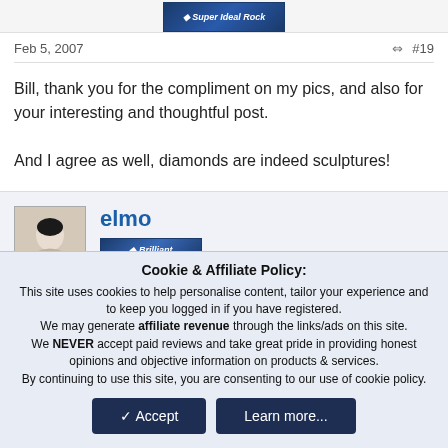[Figure (logo): Super Ideal Rock banner/logo in blue]
Feb 5, 2007
#19
Bill, thank you for the compliment on my pics, and also for your interesting and thoughtful post.

And I agree as well, diamonds are indeed sculptures!
elmo
[Figure (logo): Brilliant badge/banner]
Cookie & Affiliate Policy:
This site uses cookies to help personalise content, tailor your experience and to keep you logged in if you have registered.
We may generate affiliate revenue through the links/ads on this site.
We NEVER accept paid reviews and take great pride in providing honest opinions and objective information on products & services.
By continuing to use this site, you are consenting to our use of cookie policy.